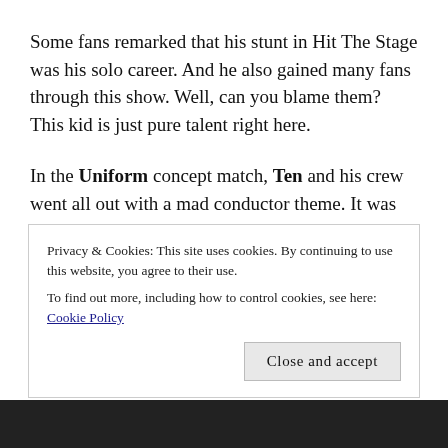Some fans remarked that his stunt in Hit The Stage was his solo career. And he also gained many fans through this show. Well, can you blame them? This kid is just pure talent right here.
In the Uniform concept match, Ten and his crew went all out with a mad conductor theme. It was glorious. You will never see a mad conductor who can dance as well as this boy.
This was definitely my favorite out of all his
Privacy & Cookies: This site uses cookies. By continuing to use this website, you agree to their use.
To find out more, including how to control cookies, see here: Cookie Policy